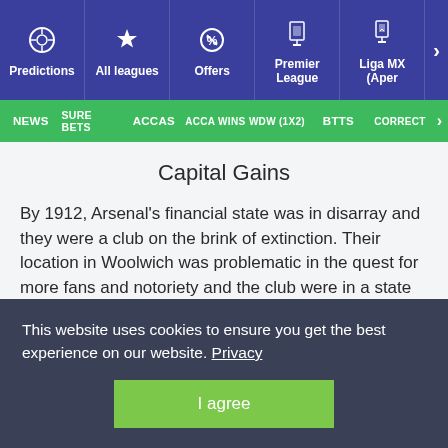Predictions | All leagues | Offers | Premier League | Liga MX (Aper
NEWS | SURE BETS | ACCAS | ACCA WINS | WDW (1X2) | BTTS | CORRECT
Capital Gains
By 1912, Arsenal's financial state was in disarray and they were a club on the brink of extinction. Their location in Woolwich was problematic in the quest for more fans and notoriety and the club were in a state of ruin within the football league.
Public opinion of football in London was divided, with sports
This website uses cookies to ensure you get the best experience on our website. Privacy
I agree